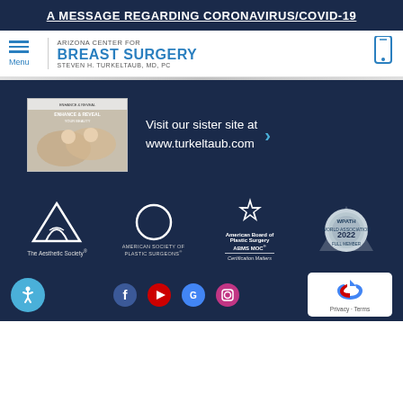A MESSAGE REGARDING CORONAVIRUS/COVID-19
[Figure (logo): Arizona Center for Breast Surgery logo with menu icon and phone icon navigation bar]
[Figure (screenshot): Sister site promotional image showing two women on beach with text Enhance & Reveal Your Beauty]
Visit our sister site at www.turkeltaub.com
[Figure (logo): The Aesthetic Society logo - white triangle/A shape]
[Figure (logo): American Society of Plastic Surgeons logo - white circle outline]
[Figure (logo): American Board of Plastic Surgery ABMS MOC Certification Matters logo]
[Figure (logo): WPATH 2022 Full Member badge]
[Figure (logo): Accessibility icon - blue circle with person symbol]
[Figure (logo): reCAPTCHA Privacy Terms badge]
[Figure (infographic): Social media icons: Facebook, YouTube, Google, Instagram at bottom]